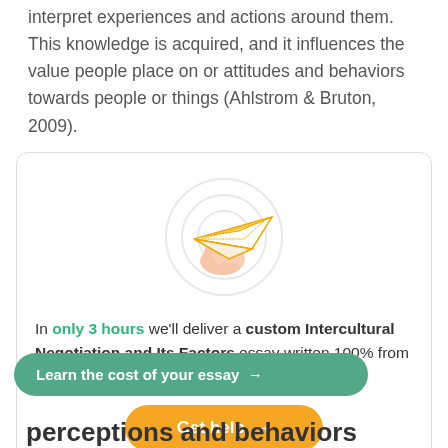interpret experiences and actions around them. This knowledge is acquired, and it influences the value people place on or attitudes and behaviors towards people or things (Ahlstrom & Bruton, 2009).
[Figure (illustration): A hand holding a paper airplane, with concentric circles in the background suggesting motion or launch.]
In only 3 hours we'll deliver a custom Intercultural Negotiation and Its Factors essay written 100% from scratch
Get help →
Learn the cost of your essay →
perceptions and behaviors